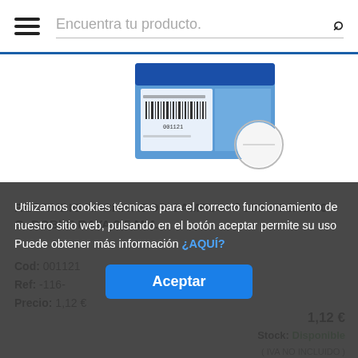Encuentra tu producto.
[Figure (photo): Product image of Recambio Archivador Campus - a blue notebook/folder refill pack shown from above with barcode label visible, with a circular detail inset to the right]
RECAMBIO ARCHIVADOR CAMPUS 4º 100 HOJAS 60 G. DOBLE RAYA 2,5 MM.
Cod: 001121
Ref: -116-
Precio: 1,12 €
Utilizamos cookies técnicas para el correcto funcionamiento de nuestro sitio web, pulsando en el botón aceptar permite su uso Puede obtener más información ¿AQUÍ?
Aceptar
Stock: Disponible
( IVA NO INCLUIDO )